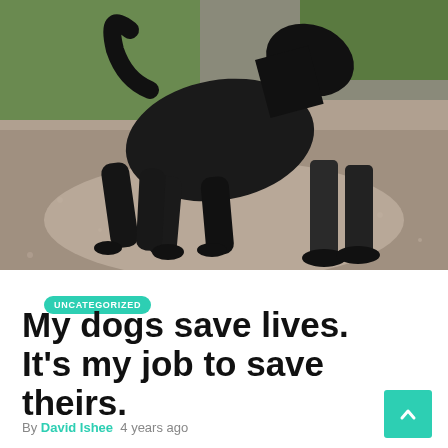[Figure (photo): A large black dog walking on a gravel path, with a person's legs and shoes visible behind it. Green grass and trees are visible in the background.]
UNCATEGORIZED
My dogs save lives. It's my job to save theirs.
By David Ishee  4 years ago